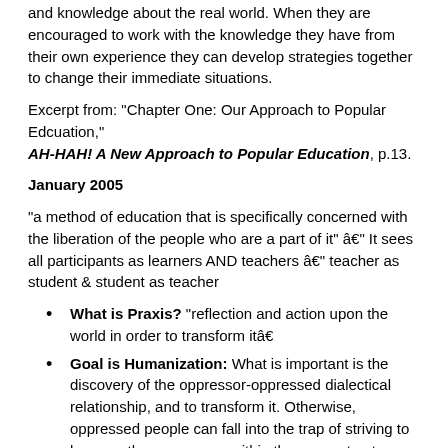and knowledge about the real world. When they are encouraged to work with the knowledge they have from their own experience they can develop strategies together to change their immediate situations.
Excerpt from: "Chapter One: Our Approach to Popular Edcuation," AH-HAH! A New Approach to Popular Education, p.13.
January 2005
"a method of education that is specifically concerned with the liberation of the people who are a part of it" â€" It sees all participants as learners AND teachers â€" teacher as student & student as teacher
What is Praxis? "reflection and action upon the world in order to transform itâ€
Goal is Humanization: What is important is the discovery of the oppressor-oppressed dialectical relationship, and to transform it. Otherwise, oppressed people can fall into the trap of striving to become the oppressors within the same structure.
LEADERSHIP (We cannot use monologues to convince